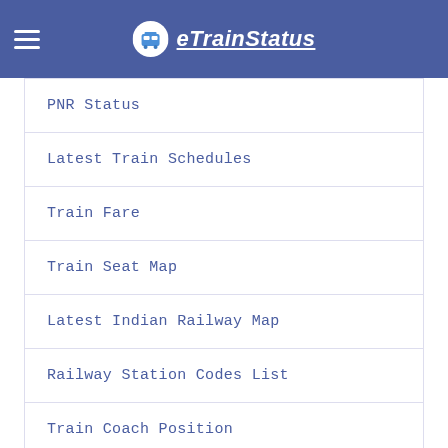eTrainStatus
PNR Status
Latest Train Schedules
Train Fare
Train Seat Map
Latest Indian Railway Map
Railway Station Codes List
Train Coach Position
IRCTC Railway Enquiry
Train Arrival And Departure Status
Indian Railways Train List With Names And Numbers